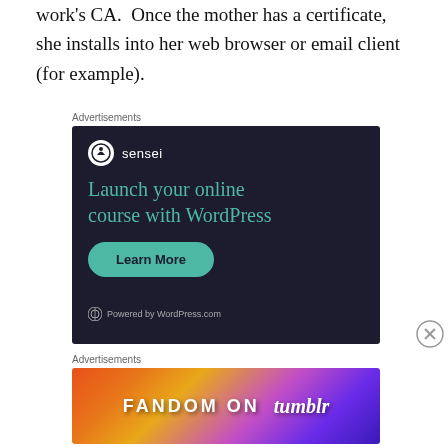work's CA.  Once the mother has a certificate, she installs into her web browser or email client (for example).
Advertisements
[Figure (screenshot): Dark-themed advertisement for Sensei plugin. Shows sensei logo and name at top, headline 'Launch your online course with WordPress' in teal color, a 'Learn More' button in teal, and 'Powered by WordPress.com' at bottom.]
Advertisements
[Figure (screenshot): Colorful gradient advertisement banner with text 'FANDOM ON tumblr' on a orange-to-purple gradient background with decorative icons.]